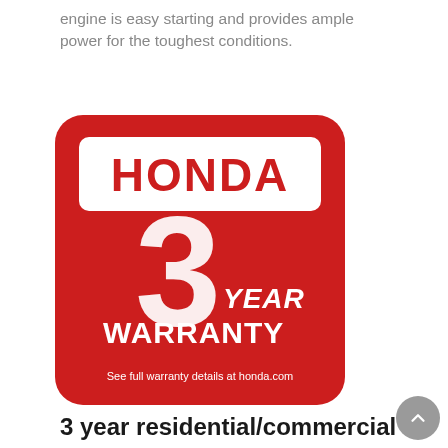engine is easy starting and provides ample power for the toughest conditions.
[Figure (logo): Honda 3 Year Warranty badge — red rounded square with white Honda logo at top, large white number '3' in center, 'YEAR' in italic white text, 'WARRANTY' in large bold white text, and small text 'See full warranty details at honda.com' at bottom.]
3 year residential/commercial warranty
You can rest easy, knowing your pump is covered from top to bottom for 3 full years.